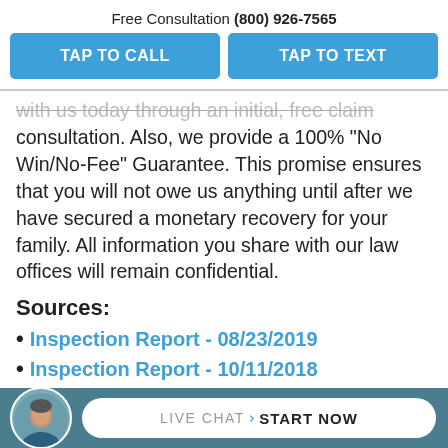Free Consultation (800) 926-7565
TAP TO CALL
TAP TO TEXT
with us today through an initial, free claim consultation. Also, we provide a 100% “No Win/No-Fee” Guarantee. This promise ensures that you will not owe us anything until after we have secured a monetary recovery for your family. All information you share with our law offices will remain confidential.
Sources:
Inspection Report - 08/23/2019
Inspection Report - 10/11/2018